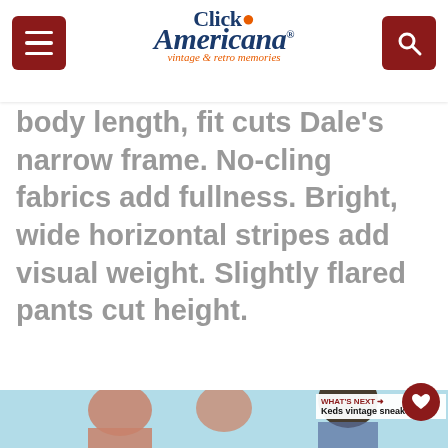Click Americana vintage & retro memories
body length, fit cuts Dale's narrow frame. No-cling fabrics add fullness. Bright, wide horizontal stripes add visual weight. Slightly flared pants cut height.
[Figure (photo): Three young people (two women and one man with glasses and afro) smiling against a light blue background, vintage 1970s fashion photo. A 'What's Next' sidebar shows Keds vintage sneakers. An advertisement banner at the bottom reads 'I just wanted a family. — Conner, adopted at 12' with Dave Thomas Foundation for Adoption logo.]